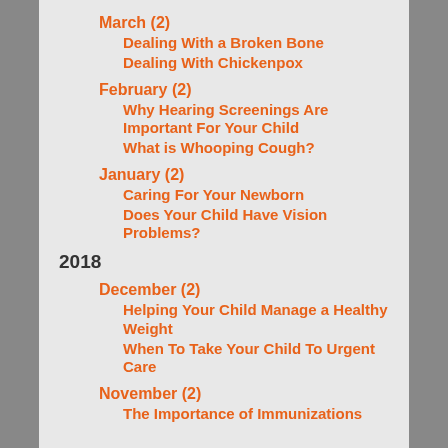March (2)
Dealing With a Broken Bone
Dealing With Chickenpox
February (2)
Why Hearing Screenings Are Important For Your Child
What is Whooping Cough?
January (2)
Caring For Your Newborn
Does Your Child Have Vision Problems?
2018
December (2)
Helping Your Child Manage a Healthy Weight
When To Take Your Child To Urgent Care
November (2)
The Importance of Immunizations